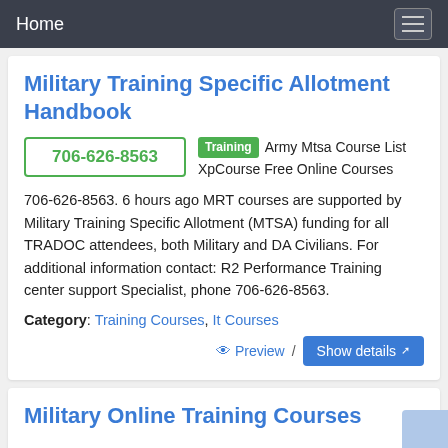Home
Military Training Specific Allotment Handbook
706-626-8563   Training   Army Mtsa Course List XpCourse Free Online Courses   706-626-8563. 6 hours ago MRT courses are supported by Military Training Specific Allotment (MTSA) funding for all TRADOC attendees, both Military and DA Civilians. For additional information contact: R2 Performance Training center support Specialist, phone 706-626-8563.
Category: Training Courses, It Courses
Preview / Show details
Military Online Training Courses